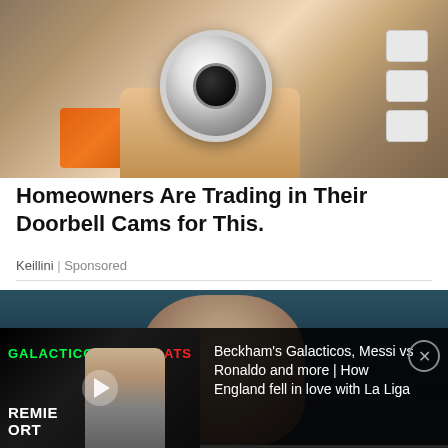[Figure (photo): Hand holding a small white security camera with circular lens surrounded by LED lights, with an orange power drill and white device boxes in the background]
Homeowners Are Trading in Their Doorbell Cams for This.
Keillini | Sponsored
[Figure (photo): Close-up of a woman's face with dark hair, blue eyes and dramatic makeup against a blurred teal background]
[Figure (screenshot): Video thumbnail showing a man in a suit with GALACTICOS text in green and GOATS text in red, with PREMIER text at bottom, overlaid with a play button]
Beckham's Galacticos, Messi vs Ronaldo and more | How England fell in love with La Liga